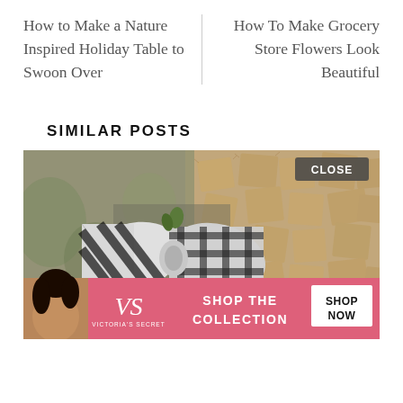How to Make a Nature Inspired Holiday Table to Swoon Over
How To Make Grocery Store Flowers Look Beautiful
SIMILAR POSTS
[Figure (photo): A decorative holiday arrangement featuring burlap ribbon, black and white plaid/buffalo check fabric, and greenery. An advertisement banner for Victoria's Secret is overlaid at the bottom with a model, VS logo, 'SHOP THE COLLECTION' text, and a 'SHOP NOW' button. A 'CLOSE' button appears at the top right of the image.]